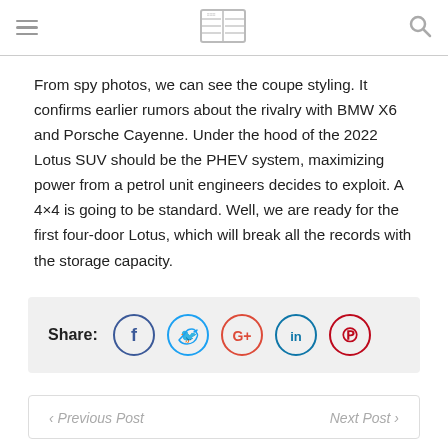Navigation header with hamburger menu, newspaper logo, and search icon
From spy photos, we can see the coupe styling. It confirms earlier rumors about the rivalry with BMW X6 and Porsche Cayenne. Under the hood of the 2022 Lotus SUV should be the PHEV system, maximizing power from a petrol unit engineers decides to exploit. A 4×4 is going to be standard. Well, we are ready for the first four-door Lotus, which will break all the records with the storage capacity.
[Figure (infographic): Share bar with social media icons: Facebook (blue circle), Twitter (light blue circle), Google+ (red circle), LinkedIn (teal circle), Pinterest (red circle)]
Previous Post   Next Post